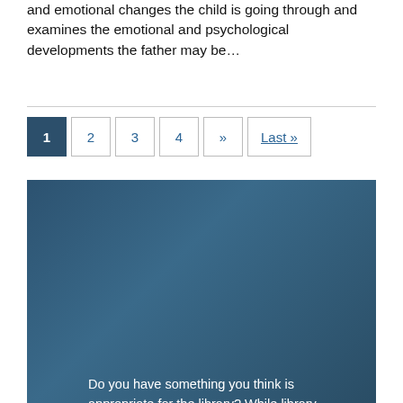and emotional changes the child is going through and examines the emotional and psychological developments the father may be…
1 2 3 4 » Last »
Do you have something you think is appropriate for the library? While library staff scour various resources seeking items for the collection, it is not possible for staff to have access to all marriage and family-related resources.
HOW TO SUBMIT LIBRARY RESOURCE